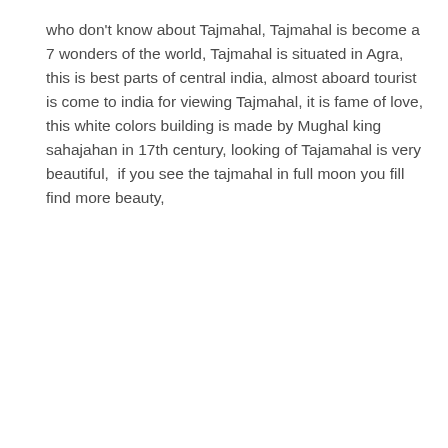who don't know about Tajmahal, Tajmahal is become a 7 wonders of the world, Tajmahal is situated in Agra, this is best parts of central india, almost aboard tourist is come to india for viewing Tajmahal, it is fame of love, this white colors building is made by Mughal king sahajahan in 17th century, looking of Tajamahal is very beautiful,  if you see the tajmahal in full moon you fill find more beauty,
#gurgaonescorts
#gurgaonescort
#escortgurgaon
#escortsgurgaon
#escortingurgaon
#escortsingurgaon
#gurugramescorts